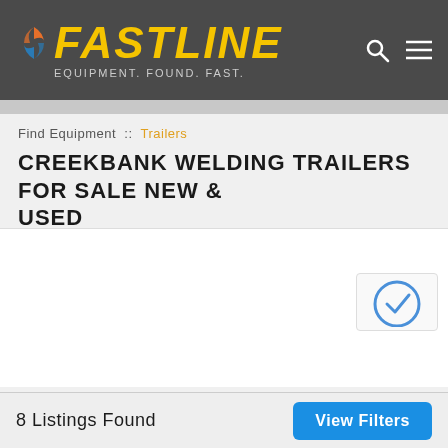FASTLINE — EQUIPMENT. FOUND. FAST.
Find Equipment :: Trailers
CREEKBANK WELDING TRAILERS FOR SALE NEW & USED
[Figure (other): White listing content area (empty/ad placeholder) with partial reCAPTCHA widget visible in bottom-right corner]
8 Listings Found   View Filters